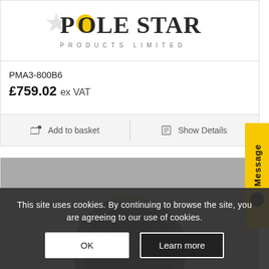[Figure (logo): Pole Star Products Limited logo with star icon and company name]
PMA3-800B6
£759.02 ex VAT
Add to basket
Show Details
[Figure (photo): Black industrial fan product photo]
This site uses cookies. By continuing to browse the site, you are agreeing to our use of cookies.
OK
Learn more